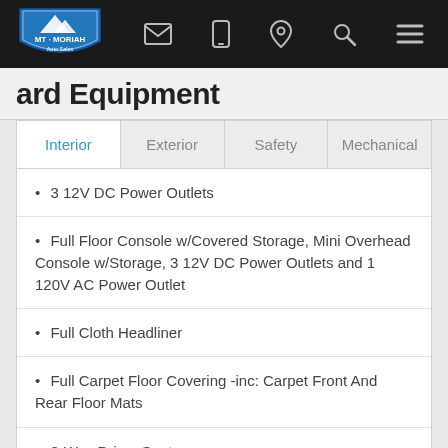[Figure (logo): Mt. Moriah Auto Sales logo — blue mountain shield badge with white text]
ard Equipment
| Interior | Exterior | Safety | Mechanical |
| --- | --- | --- | --- |
3 12V DC Power Outlets
Full Floor Console w/Covered Storage, Mini Overhead Console w/Storage, 3 12V DC Power Outlets and 1 120V AC Power Outlet
Full Cloth Headliner
Full Carpet Floor Covering -inc: Carpet Front And Rear Floor Mats
8-Way Driver Seat
Front Cupholder
Front Center Armrest and Rear Center Armrest